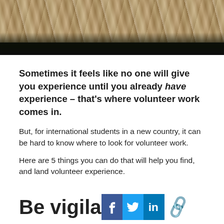[Figure (photo): Photo banner showing people's hands/arms on grass, viewed from above, dark at bottom]
Sometimes it feels like no one will give you experience until you already have experience – that's where volunteer work comes in.
But, for international students in a new country, it can be hard to know where to look for volunteer work.
Here are 5 things you can do that will help you find, and land volunteer experience.
Be vigila...